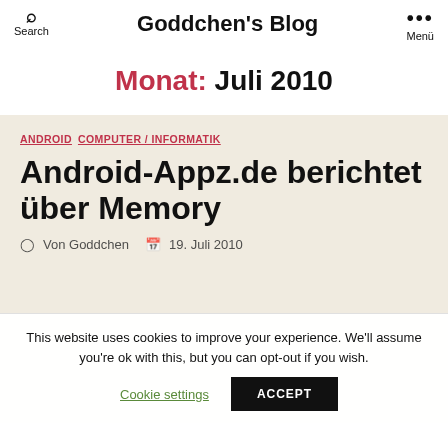Search  Goddchen's Blog  Menü
Monat: Juli 2010
ANDROID  COMPUTER / INFORMATIK
Android-Appz.de berichtet über Memory
Von Goddchen  19. Juli 2010
This website uses cookies to improve your experience. We'll assume you're ok with this, but you can opt-out if you wish.
Cookie settings  ACCEPT